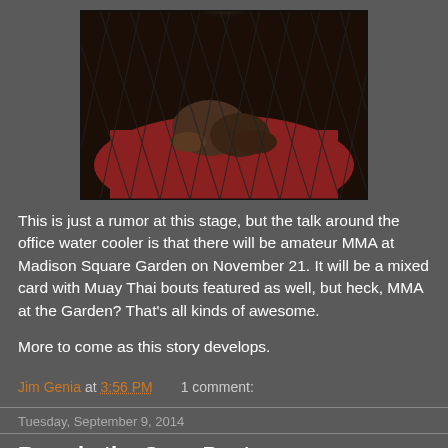[Figure (photo): MMA fighters grappling on the mat inside a chain-link cage, with arena lighting visible through the fence.]
This is just a rumor at this stage, but the talk around the office water cooler is that there will be amateur MMA at Madison Square Garden on November 21. It will be a mixed card with Muay Thai bouts featured as well, but heck, MMA at the Garden? That's all kinds of awesome.

More to come as this story develops.
Jim Genia at 3:56 PM    1 comment:
Tuesday, September 9, 2014
Rage in the Cage Poster